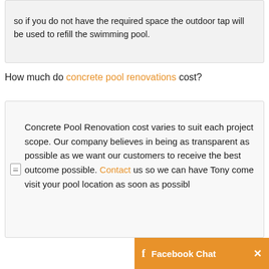so if you do not have the required space the outdoor tap will be used to refill the swimming pool.
How much do concrete pool renovations cost?
Concrete Pool Renovation cost varies to suit each project scope. Our company believes in being as transparent as possible as we want our customers to receive the best outcome possible. Contact us so we can have Tony come visit your pool location as soon as possibl...